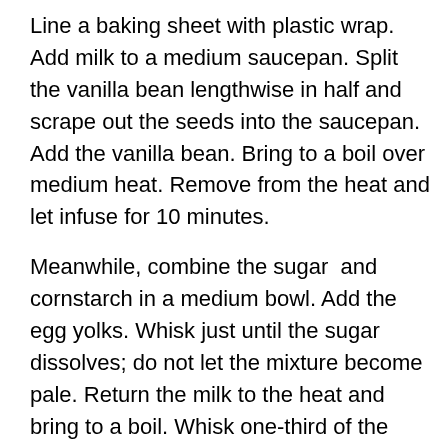Line a baking sheet with plastic wrap. Add milk to a medium saucepan. Split the vanilla bean lengthwise in half and scrape out the seeds into the saucepan. Add the vanilla bean. Bring to a boil over medium heat. Remove from the heat and let infuse for 10 minutes.
Meanwhile, combine the sugar  and cornstarch in a medium bowl. Add the egg yolks. Whisk just until the sugar dissolves; do not let the mixture become pale. Return the milk to the heat and bring to a boil. Whisk one-third of the milk into the egg yolk-cornstarch-sugar mixture. Whisk in the remaining milk. Return the mixture to the saucepan, straining it through a fine sieve, and cook over medium heat, whisking constantly. As soon as the pastry begins to thicken, remove it from the heat. Whisk in